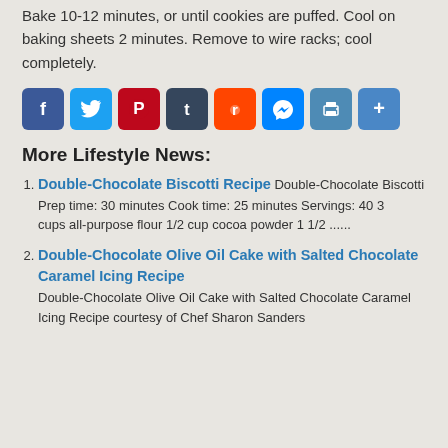Bake 10-12 minutes, or until cookies are puffed. Cool on baking sheets 2 minutes. Remove to wire racks; cool completely.
[Figure (other): Social media sharing icons: Facebook, Twitter, Pinterest, Tumblr, Reddit, Messenger, Print, More]
More Lifestyle News:
Double-Chocolate Biscotti Recipe Double-Chocolate Biscotti Prep time: 30 minutes Cook time: 25 minutes Servings: 40 3 cups all-purpose flour 1/2 cup cocoa powder 1 1/2 ......
Double-Chocolate Olive Oil Cake with Salted Chocolate Caramel Icing Recipe Double-Chocolate Olive Oil Cake with Salted Chocolate Caramel Icing Recipe courtesy of Chef Sharon Sanders